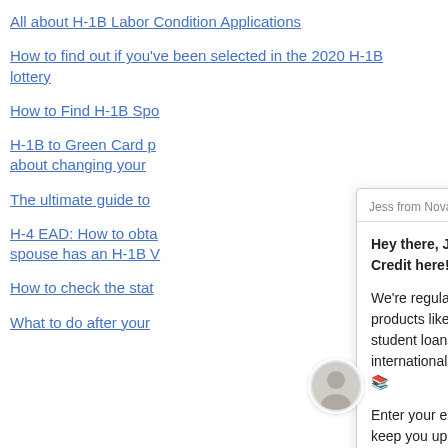All about H-1B Labor Condition Applications
How to find out if you've been selected in the 2020 H-1B lottery
How to Find H-1B Spo…
H-1B to Green Card p… about changing your…
The ultimate guide to…
H-4 EAD: How to obta… spouse has an H-1B V…
How to check the stat…
What to do after your…
[Figure (screenshot): Chat widget from Jess from Nova Credit with message about new products and email input field]